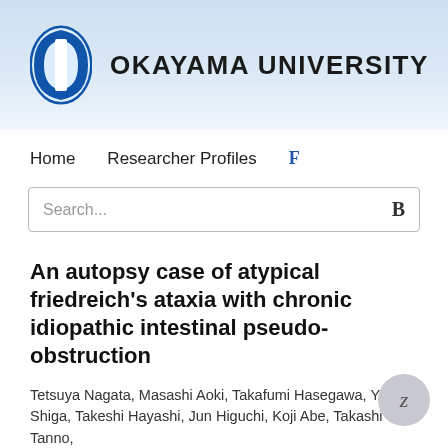[Figure (logo): Okayama University logo with stylized blue oval/capsule icon and university name text]
Home   Researcher Profiles   F
Search...
An autopsy case of atypical friedreich's ataxia with chronic idiopathic intestinal pseudo-obstruction
Tetsuya Nagata, Masashi Aoki, Takafumi Hasegawa, Yusei Shiga, Takeshi Hayashi, Jun Higuchi, Koji Abe, Takashi Tanno,